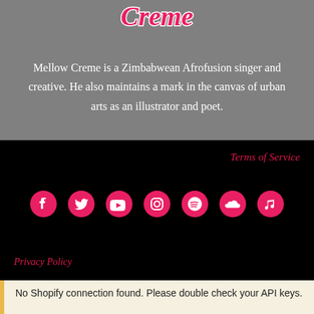[Figure (logo): Mellow Creme stylized logo in pink and white text on gray background, partially cropped at top]
Mellow Creme is a Zimbabwean Afrofusion singer and creative. He also maintains a mark in the canvas of urban arts as an illustrator and poet.
Terms of Service
[Figure (infographic): Row of social media icons in pink: Facebook, Twitter, YouTube, Instagram, Spotify, SoundCloud, Apple Music]
Privacy Policy
No Shopify connection found. Please double check your API keys.